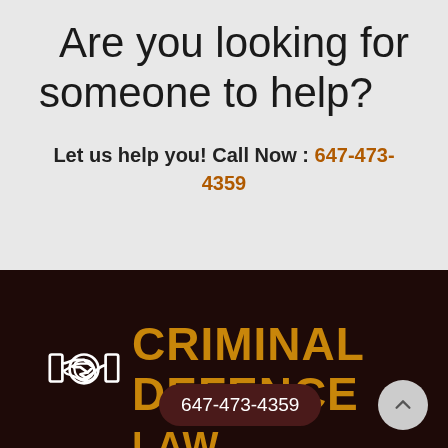Are you looking for someone to help?
Let us help you! Call Now : 647-473-4359
[Figure (logo): Criminal Defence Law firm logo with handshake icon and firm name text 'CRIMINAL DEFENCE LAW' in gold on dark brown background, with a phone number pill overlay showing 647-473-4359 and a scroll-up button]
647-473-4359